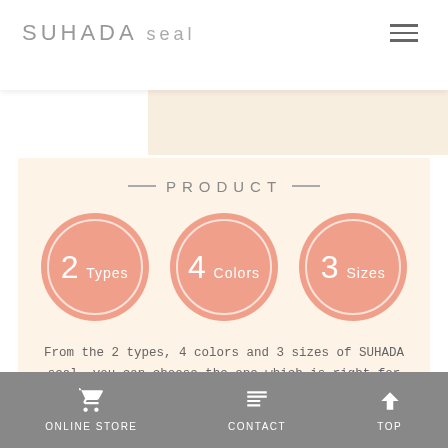SUHADA seal
— PRODUCT —
[Figure (infographic): Three salmon-pink circles with white inner border rings, labeled '2 Types', '4 Colors', '3 Sizes']
From the 2 types, 4 colors and 3 sizes of SUHADA seal, you can choose the one which is right for you.We also offer a Trial Pack for first-time users.
ONLINE STORE   CONTACT   TOP